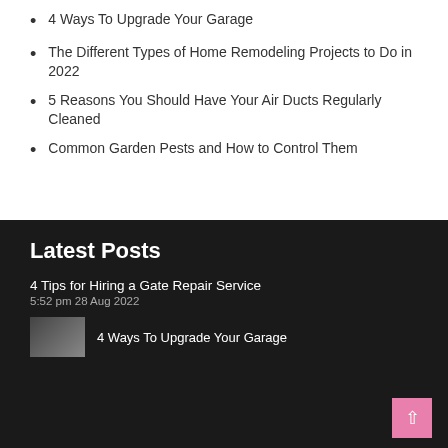4 Ways To Upgrade Your Garage
The Different Types of Home Remodeling Projects to Do in 2022
5 Reasons You Should Have Your Air Ducts Regularly Cleaned
Common Garden Pests and How to Control Them
Latest Posts
4 Tips for Hiring a Gate Repair Service
5:52 pm 28 Aug 2022
[Figure (photo): Thumbnail image for '4 Ways To Upgrade Your Garage']
4 Ways To Upgrade Your Garage